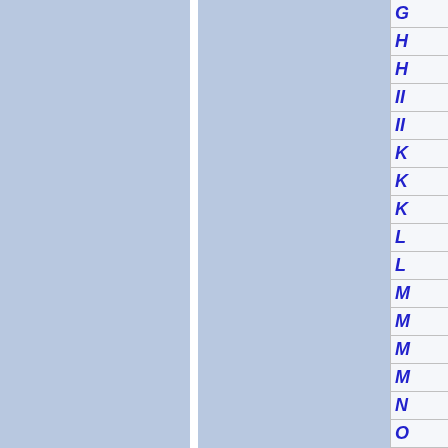[Figure (other): Index/navigation panel on the right side showing alphabetical index letters G, H, H, II, II, K, K, K, L, L, M, M, M, M, N, O in blue italic text on light background cells with dividers. Left portion shows two blue-gray columns separated by a white vertical divider.]